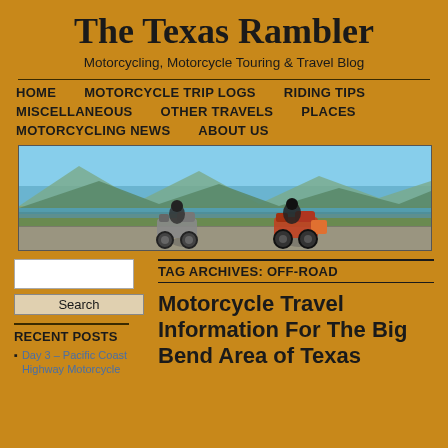The Texas Rambler
Motorcycling, Motorcycle Touring & Travel Blog
HOME   MOTORCYCLE TRIP LOGS   RIDING TIPS   MISCELLANEOUS   OTHER TRAVELS   PLACES   MOTORCYCLING NEWS   ABOUT US
[Figure (photo): Two motorcycles riding on a road beside a lake with mountains in the background under a blue sky.]
TAG ARCHIVES: OFF-ROAD
RECENT POSTS
Day 3 – Pacific Coast Highway Motorcycle
Motorcycle Travel Information For The Big Bend Area of Texas